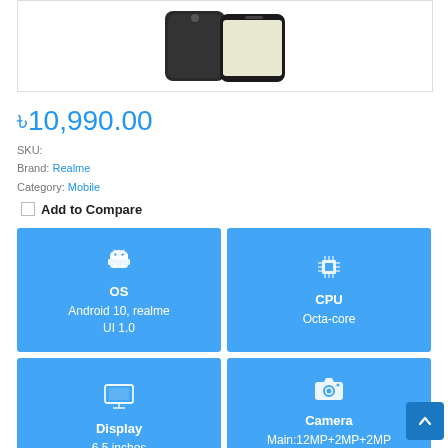[Figure (photo): Smartphone product image (Realme phone, dark color, seen from front/back)]
৳10,990.00
SKU:
Brand: Realme
Category: Mobile
Add to Compare
[Figure (infographic): OS spec card - blue background, Android robot icon, label OS, value Android 10, realme UI 1.0]
[Figure (infographic): CPU spec card - blue background, chip icon, label CPU, value Octa-core]
[Figure (infographic): Display spec card - blue background, monitor icon, label Display, value 6.5 inches]
[Figure (infographic): Camera spec card - blue background, camera icon, label Camera, value Main:12MP+2MP+2MP Front:5MP]